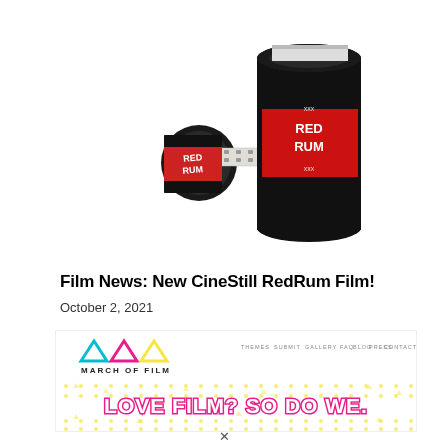[Figure (photo): Two CineStill RedRum film canisters on white background — one lying on its side showing the red and black label, one standing upright showing the 'RedRum' label in red and black.]
Film News: New CineStill RedRum Film!
October 2, 2021
[Figure (screenshot): Screenshot of the March of Film website showing the logo with three triangles (cyan, magenta, yellow) and text 'MARCH OF FILM', navigation links (THEMES, SUBMIT, GALLERY, FAQ, BLOG, PRESS, CONTACT), and a banner reading 'LOVE FILM? SO DO WE.' in pink/red outlined text on a white background with yellow dot/triangle pattern.]